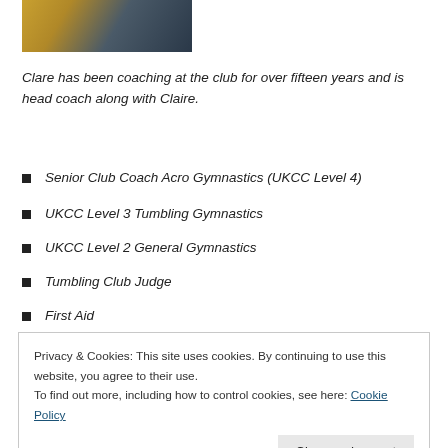[Figure (photo): Photo of a person in a gymnastics/sports setting with yellow and dark tones]
Clare has been coaching at the club for over fifteen years and is head coach along with Claire.
Senior Club Coach Acro Gymnastics (UKCC Level 4)
UKCC Level 3 Tumbling Gymnastics
UKCC Level 2 General Gymnastics
Tumbling Club Judge
First Aid
Privacy & Cookies: This site uses cookies. By continuing to use this website, you agree to their use.
To find out more, including how to control cookies, see here: Cookie Policy